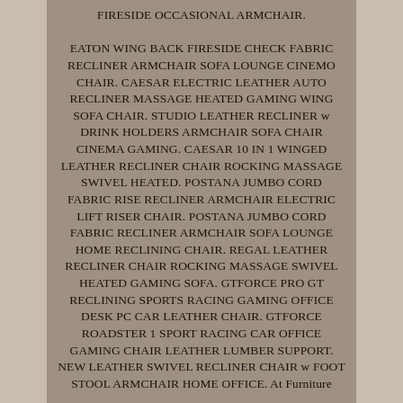FIRESIDE OCCASIONAL ARMCHAIR. EATON WING BACK FIRESIDE CHECK FABRIC RECLINER ARMCHAIR SOFA LOUNGE CINEMO CHAIR. CAESAR ELECTRIC LEATHER AUTO RECLINER MASSAGE HEATED GAMING WING SOFA CHAIR. STUDIO LEATHER RECLINER w DRINK HOLDERS ARMCHAIR SOFA CHAIR CINEMA GAMING. CAESAR 10 IN 1 WINGED LEATHER RECLINER CHAIR ROCKING MASSAGE SWIVEL HEATED. POSTANA JUMBO CORD FABRIC RISE RECLINER ARMCHAIR ELECTRIC LIFT RISER CHAIR. POSTANA JUMBO CORD FABRIC RECLINER ARMCHAIR SOFA LOUNGE HOME RECLINING CHAIR. REGAL LEATHER RECLINER CHAIR ROCKING MASSAGE SWIVEL HEATED GAMING SOFA. GTFORCE PRO GT RECLINING SPORTS RACING GAMING OFFICE DESK PC CAR LEATHER CHAIR. GTFORCE ROADSTER 1 SPORT RACING CAR OFFICE GAMING CHAIR LEATHER LUMBER SUPPORT. NEW LEATHER SWIVEL RECLINER CHAIR w FOOT STOOL ARMCHAIR HOME OFFICE. At Furniture